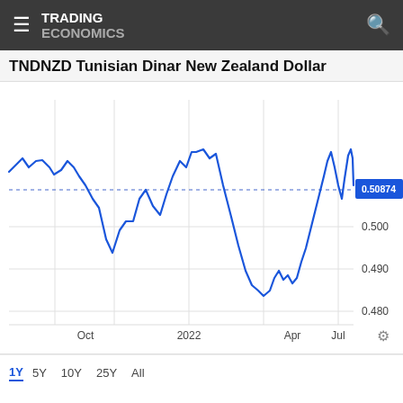TRADING ECONOMICS
TNDNZD Tunisian Dinar New Zealand Dollar
[Figure (continuous-plot): Line chart of TNDNZD (Tunisian Dinar to New Zealand Dollar) exchange rate over 1 year from approximately Aug/Sep 2021 to Aug 2022. The line is blue, showing volatile movement. The rate starts around 0.51, dips to around 0.475 around Oct 2021, recovers to highs near 0.52 in late 2021/early 2022 (2022 label), then drops sharply to a low around 0.477 in April 2022, recovers to near 0.525 around mid-May 2022, drops again near 0.490 in June, peaks again near 0.525 in Jul 2022, then declines back toward 0.490-0.495 by Aug 2022. A horizontal dotted reference line is shown at approximately 0.509. Y-axis labels on the right: 0.500, 0.490, 0.480. A blue highlighted box shows the current value 0.50874. X-axis labels: Oct, 2022, Apr, Jul.]
1Y  5Y  10Y  25Y  All